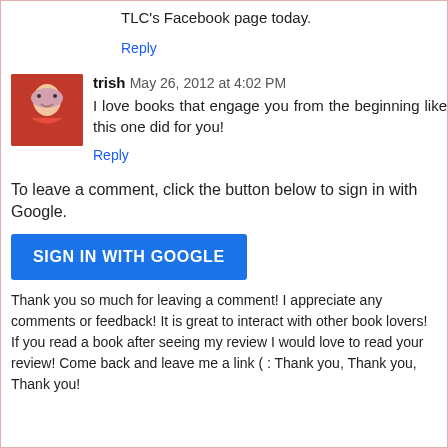TLC's Facebook page today.
Reply
trish May 26, 2012 at 4:02 PM
I love books that engage you from the beginning like this one did for you!
Reply
To leave a comment, click the button below to sign in with Google.
SIGN IN WITH GOOGLE
Thank you so much for leaving a comment! I appreciate any comments or feedback! It is great to interact with other book lovers! If you read a book after seeing my review I would love to read your review! Come back and leave me a link ( : Thank you, Thank you, Thank you!